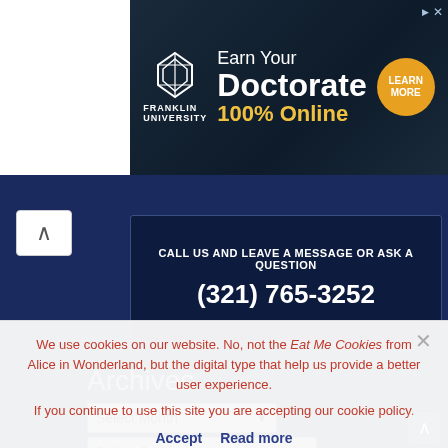[Figure (illustration): Franklin University advertisement banner: Earn Your Doctorate 100% Online, with Learn More button]
CALL US AND LEAVE A MESSAGE OR ASK A QUESTION
(321) 765-3252
Archives
Select Month
Select Category
2013 2014 2015 2016 2017 2018 2019 2020 2021
We use cookies on our website. No, not the Eat Me Cookies from Alice in Wonderland, but the digital type that help us provide a better user experience.
If you continue to use this site you are accepting our cookie policy.
Accept   Read more
Alaska Awards CAR Canadian Resident Rate Castaway Cay Coronavirus Cozumel Disney Dream Disney Fantasy